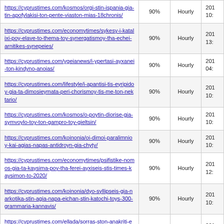| URL | Priority | Change Frequency | Last Modified |
| --- | --- | --- | --- |
| https://cyprustimes.com/kosmos/orgi-stin-ispania-gia-tin-apofylakisi-ton-pente-viaston-mias-18chronis/ | 90% | Hourly | 201 10: |
| https://cyprustimes.com/economytimes/sykesy-i-katalixi-poy-elave-to-thema-toy-synergatismoy-tha-echei-arnitikes-synepeies/ | 90% | Hourly | 201 13: |
| https://cyprustimes.com/ygeianews/i-ypertasi-ayxanei-ton-kindyno-anoias/ | 90% | Hourly | 201 04: |
| https://cyprustimes.com/lifestyle/i-apantisi-tis-eyripidoy-gia-ta-dimosieymata-peri-chorismoy-tis-me-ton-nektario/ | 90% | Hourly | 201 10: |
| https://cyprustimes.com/kosmos/o-poytin-diorise-gia-symvoylo-toy-ton-gampro-toy-gieltsin/ | 90% | Hourly | 201 10: |
| https://cyprustimes.com/koinonia/oi-dimoi-paralimnioy-kai-agias-napas-antidroyn-gia-chyty/ | 90% | Hourly | 201 10: |
| https://cyprustimes.com/economytimes/psifistike-nomos-gia-ta-kaysima-poy-tha-ferei-ayxiseis-stis-times-kaysimon-to-2020/ | 90% | Hourly | 201 12: |
| https://cyprustimes.com/koinonia/dyo-syllipseis-gia-narkotika-stin-agia-napa-eichan-stin-katochi-toys-300-grammaria-kannavis/ | 90% | Hourly | 201 10: |
| https://cyprustimes.com/ellada/sorras-ston-anakriti-echo-ta-600-dis-alla-to-systima-theorei-ta-ergaleia-moy-achrista/ | 90% | Hourly | 201 10: |
| https://cyprustimes.com/kosmos/pos-to-kremmydi-kai-i-patata-apeiloyn-ta-pososta-toy-erntogan-liges-ores-prin-tis-ekloges/ | 90% | Hourly | 201 10: |
| https://cyprustimes.com/intimes/giati-o-tramp-echei- | 90% | Hourly | 201 |